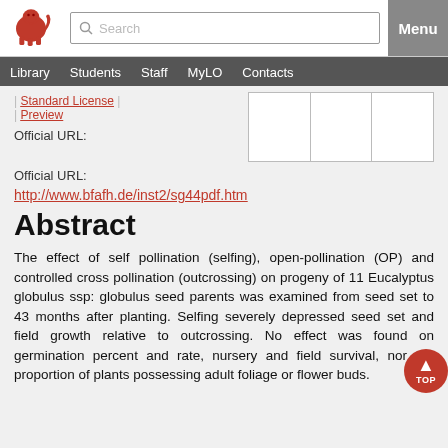University navigation bar with logo, search, menu, Library, Students, Staff, MyLO, Contacts
Standard License | Preview
Official URL:
http://www.bfafh.de/inst2/sg44pdf.htm
Abstract
The effect of self pollination (selfing), open-pollination (OP) and controlled cross pollination (outcrossing) on progeny of 11 Eucalyptus globulus ssp: globulus seed parents was examined from seed set to 43 months after planting. Selfing severely depressed seed set and field growth relative to outcrossing. No effect was found on germination percent and rate, nursery and field survival, nor the proportion of plants possessing adult foliage or flower buds.